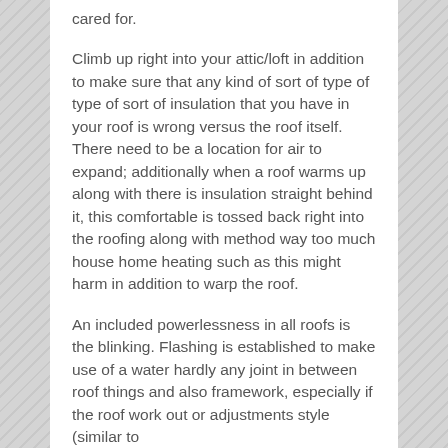cared for.
Climb up right into your attic/loft in addition to make sure that any kind of sort of type of type of sort of insulation that you have in your roof is wrong versus the roof itself. There need to be a location for air to expand; additionally when a roof warms up along with there is insulation straight behind it, this comfortable is tossed back right into the roofing along with method way too much house home heating such as this might harm in addition to warp the roof.
An included powerlessness in all roofs is the blinking. Flashing is established to make use of a water hardly any joint in between roof things and also framework, especially if the roof work out or adjustments style (similar to